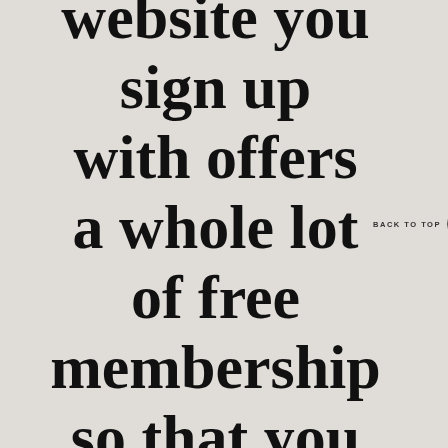website you sign up with offers a whole lot of free membership so that you
BACK TO TOP